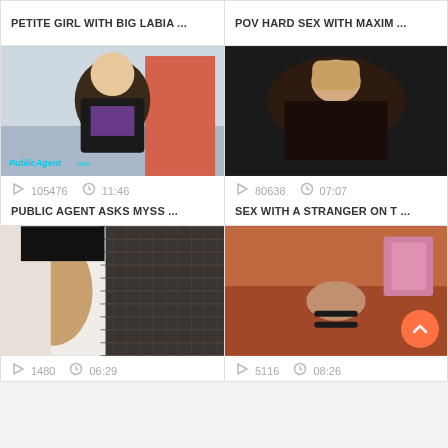PETITE GIRL WITH BIG LABIA...
POV HARD SEX WITH MAXIM...
[Figure (photo): Thumbnail of woman outdoors with Public Agent watermark]
[Figure (photo): Thumbnail of woman in dark setting]
105476  11:46
80638  07:07
PUBLIC AGENT ASKS MYSS ...
SEX WITH A STRANGER ON T...
[Figure (photo): Thumbnail showing fishnets close-up]
[Figure (photo): Thumbnail showing person on couch with orange/pink background]
1480  06:29
5116  08:26